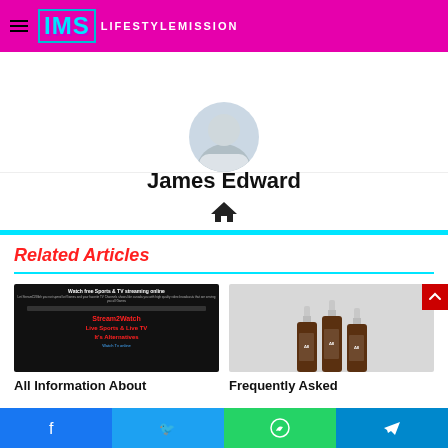IMS LIFESTYLEMISSION
[Figure (photo): Circular avatar photo of James Edward, person wearing light-colored top, partially cropped]
James Edward
[Figure (other): Home icon (house symbol)]
Related Articles
[Figure (screenshot): Screenshot of Stream2Watch website showing 'Watch Free Sports & TV streaming online' with red text showing Stream2Watch, Live Sports & Live TV, It's Alternatives]
All Information About
[Figure (photo): Three amber dropper bottles with delta-8 branding on gray stepped platform]
Frequently Asked